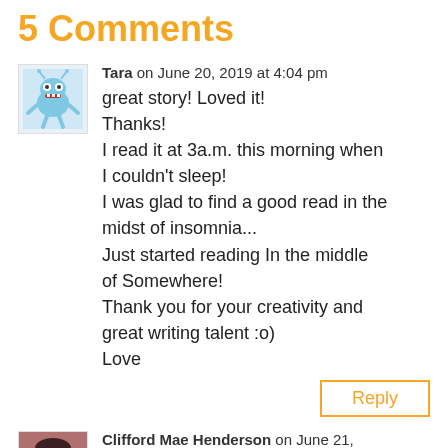5 Comments
Tara on June 20, 2019 at 4:04 pm
great story! Loved it!
Thanks!
I read it at 3a.m. this morning when I couldn't sleep!
I was glad to find a good read in the midst of insomnia...
Just started reading In the middle of Somewhere!
Thank you for your creativity and great writing talent :o)
Love
Reply
Clifford Mae Henderson on June 21, 2019 at 7:32 pm